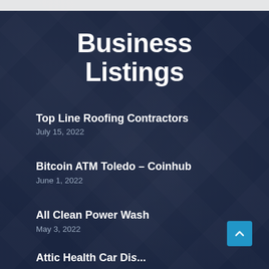Business Listings
Top Line Roofing Contractors
July 15, 2022
Bitcoin ATM Toledo – Coinhub
June 1, 2022
All Clean Power Wash
May 3, 2022
Attic Health Car Di...